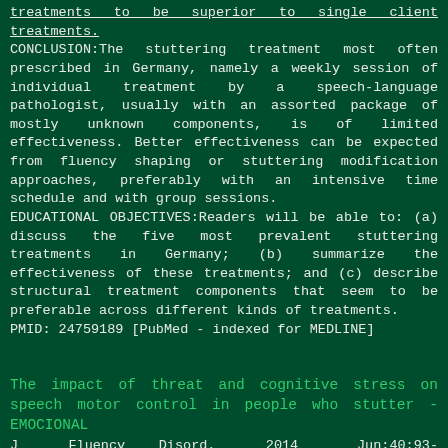treatments to be superior to single client treatments.
CONCLUSION:The stuttering treatment most often prescribed in Germany, namely a weekly session of individual treatment by a speech-language pathologist, usually with an assorted package of mostly unknown components, is of limited effectiveness. Better effectiveness can be expected from fluency shaping or stuttering modification approaches, preferably with an intensive time schedule and with group sessions.
EDUCATIONAL OBJECTIVES:Readers will be able to: (a) discuss the five most prevalent stuttering treatments in Germany; (b) summarize the effectiveness of these treatments; and (c) describe structural treatment components that seem to be preferable across different kinds of treatments.
PMID: 24759189 [PubMed - indexed for MEDLINE]
The impact of threat and cognitive stress on speech motor control in people who stutter - EMOCIONAL
J Fluency Disord. 2014 Jun;40:93-109. doi: 10.1016/j.jfludis.2014.02.003. Epub 2014 Mar 3.
Lieshout Pv, Ben-David B, Lipski M, Namasivayam A